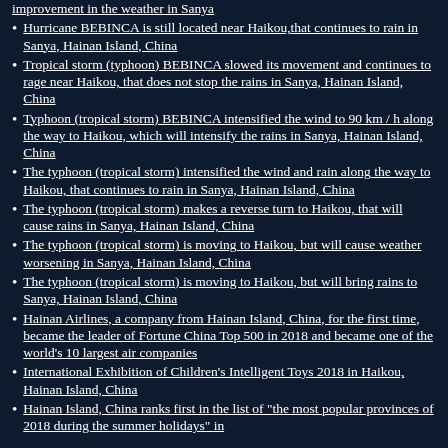improvement in the weather in Sanya
Hurricane BEBINCA is still located near Haikou,that continues to rain in Sanya, Hainan Island, China
Tropical storm (typhoon) BEBINCA slowed its movement and continues to rage near Haikou, that does not stop the rains in Sanya, Hainan Island, China
Typhoon (tropical storm) BEBINCA intensified the wind to 90 km / h along the way to Haikou, which will intensify the rains in Sanya, Hainan Island, China
The typhoon (tropical storm) intensified the wind and rain along the way to Haikou, that continues to rain in Sanya, Hainan Island, China
The typhoon (tropical storm) makes a reverse turn to Haikou, that will cause rains in Sanya, Hainan Island, China
The typhoon (tropical storm) is moving to Haikou, but will cause weather worsening in Sanya, Hainan Island, China
The typhoon (tropical storm) is moving to Haikou, but will bring rains to Sanya, Hainan Island, China
Hainan Airlines, a company from Hainan Island, China, for the first time, became the leader of Fortune China Top 500 in 2018 and became one of the world's 10 largest air companies
International Exhibition of Children's Intelligent Toys 2018 in Haikou, Hainan Island, China
Hainan Island, China ranks first in the list of "the most popular provinces of 2018 during the summer holidays" in